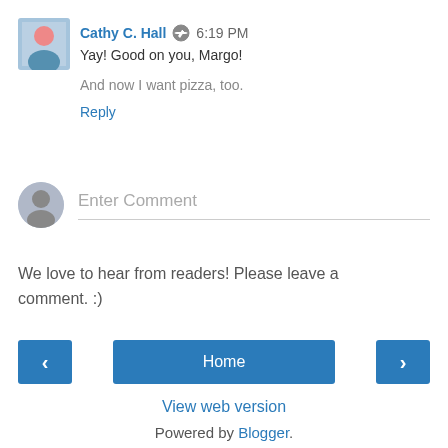Cathy C. Hall  6:19 PM
Yay! Good on you, Margo!
And now I want pizza, too.
Reply
[Figure (illustration): User avatar placeholder icon (grey circle with silhouette)]
Enter Comment
We love to hear from readers! Please leave a comment. :)
‹
Home
›
View web version
Powered by Blogger.